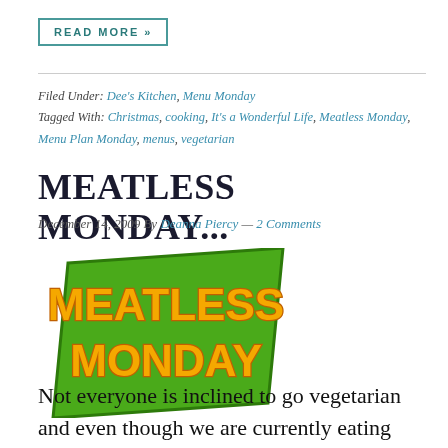READ MORE »
Filed Under: Dee's Kitchen, Menu Monday
Tagged With: Christmas, cooking, It's a Wonderful Life, Meatless Monday, Menu Plan Monday, menus, vegetarian
MEATLESS MONDAY...
December 14, 2009 By Deanna Piercy — 2 Comments
[Figure (logo): Meatless Monday logo — green parallelogram-shaped banner with yellow/orange bubble letters reading MEATLESS MONDAY]
Not everyone is inclined to go vegetarian and even though we are currently eating